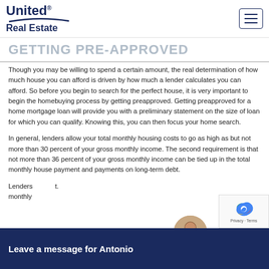United Real Estate
GETTING PRE-APPROVED
Though you may be willing to spend a certain amount, the real determination of how much house you can afford is driven by how much a lender calculates you can afford. So before you begin to search for the perfect house, it is very important to begin the homebuying process by getting preapproved. Getting preapproved for a home mortgage loan will provide you with a preliminary statement on the size of loan for which you can qualify. Knowing this, you can then focus your home search.
In general, lenders allow your total monthly housing costs to go as high as but not more than 30 percent of your gross monthly income. The second requirement is that not more than 36 percent of your gross monthly income can be tied up in the total monthly house payment and payments on long-term debt.
Lenders... monthly...
[Figure (photo): Chat overlay bar with avatar photo of Antonio and text 'Leave a message for Antonio']
[Figure (other): reCAPTCHA widget with Privacy - Terms label]